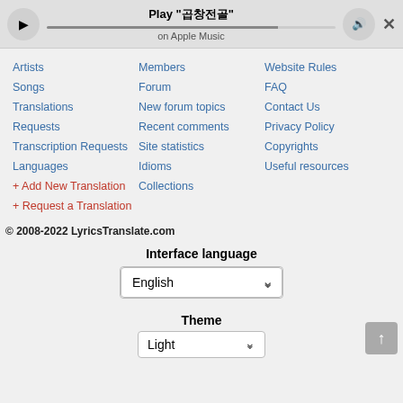[Figure (screenshot): Music player bar with play button, track title 'Play "곱창전골"', on Apple Music, volume button, close X]
Artists
Members
Website Rules
Songs
Forum
FAQ
Translations
New forum topics
Contact Us
Requests
Recent comments
Privacy Policy
Transcription Requests
Site statistics
Copyrights
Languages
Idioms
Useful resources
+ Add New Translation
Collections
+ Request a Translation
© 2008-2022 LyricsTranslate.com
Interface language
English
Theme
Light